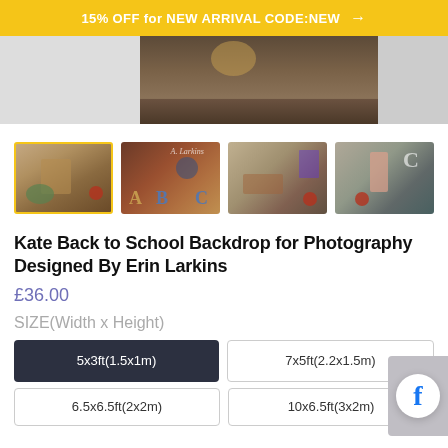15% OFF for NEW ARRIVAL CODE:NEW →
[Figure (photo): Main product image showing a back-to-school photography backdrop, partially visible, showing a school-themed scene with dark wood flooring and vintage classroom elements.]
[Figure (photo): Thumbnail strip showing 4 photos of children posing in front of the Kate Back to School backdrop. First image selected (yellow border): girl reading book, second: school letters A,B,C on backdrop, third: girl resting chin on books, fourth: girl in pink dress standing.]
Kate Back to School Backdrop for Photography Designed By Erin Larkins
£36.00
SIZE(Width x Height)
5x3ft(1.5x1m)
7x5ft(2.2x1.5m)
6.5x6.5ft(2x2m)
10x6.5ft(3x2m)